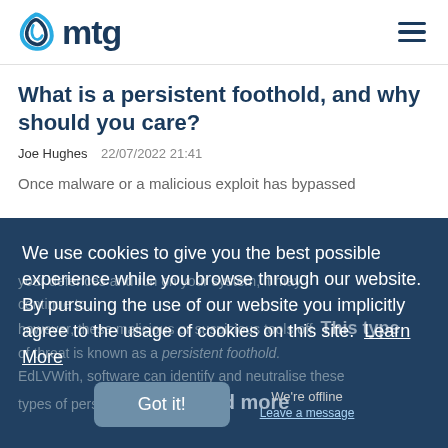mtg
What is a persistent foothold, and why should you care?
Joe Hughes  22/07/2022 21:41
Once malware or a malicious exploit has bypassed your defences and run on your system, it may continue to. However, these malicious or suspicious tools off. This type of threat is known as a persistent foothold. EdLVWith, software can identify and neutralise these types of persistent threats. Read more
We use cookies to give you the best possible experience while you browse through our website. By pursuing the use of our website you implicitly agree to the usage of cookies on this site.  Learn More
Got it!
We're offline
Leave a message